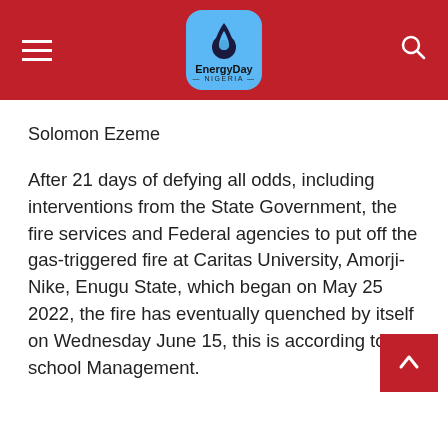EnergyDay Nigeria
Solomon Ezeme
After 21 days of defying all odds, including interventions from the State Government, the fire services and Federal agencies to put off the gas-triggered fire at Caritas University, Amorji-Nike, Enugu State, which began on May 25 2022, the fire has eventually quenched by itself on Wednesday June 15, this is according to the school Management.